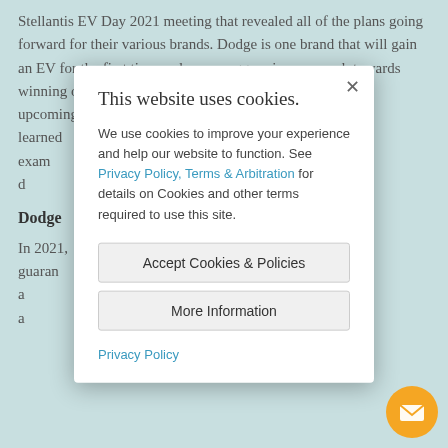Stellantis EV Day 2021 meeting that revealed all of the plans going forward for their various brands. Dodge is one brand that will gain an EV for the first time and see an aggressive approach towards winning over new customers. Let's look ahead to the upcoming Dodge EV and see what lessons we've learned from the latest EV releases that we can expect. Let us examine the lineup that Dodge is currently laying down the foundation for. The Dodge Plan...
Dodge
In 2021, Dodge announced a plan that includes guarantees of performance and the power and the brand a th
[Figure (screenshot): Cookie consent modal dialog with title 'This website uses cookies.', body text explaining cookie usage with links to Privacy Policy and Terms & Arbitration, two buttons: 'Accept Cookies & Policies' and 'More Information', and a Privacy Policy link at the bottom. A close (×) button appears at the top right.]